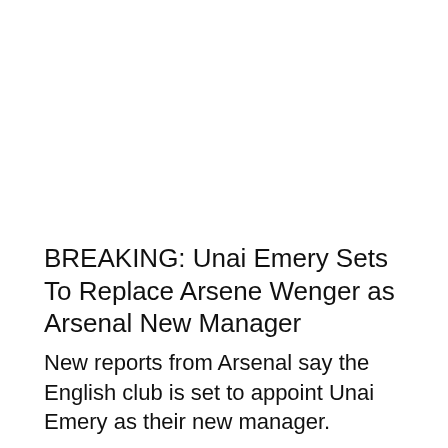BREAKING: Unai Emery Sets To Replace Arsene Wenger as Arsenal New Manager
New reports from Arsenal say the English club is set to appoint Unai Emery as their new manager.